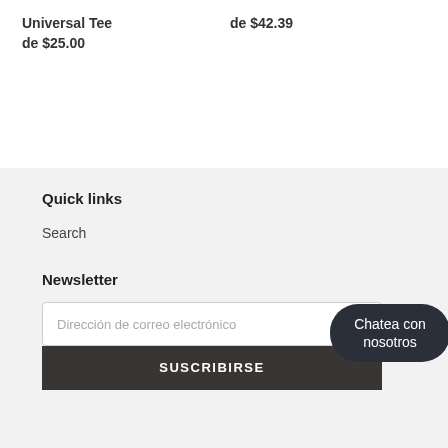Universal Tee
de $25.00
de $42.39
Quick links
Search
Newsletter
Dirección de correo electrónico
Chatea con nosotros
SUSCRIBIRSE